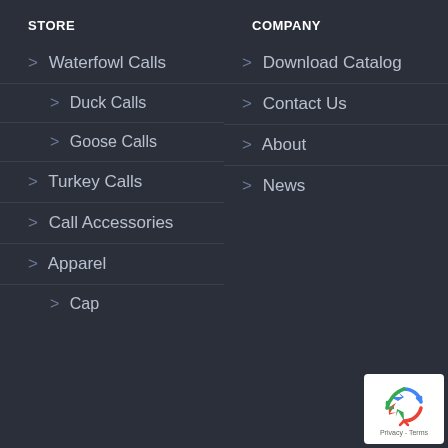STORE
> Waterfowl Calls
> Duck Calls
> Goose Calls
> Turkey Calls
> Call Accessories
> Apparel
> Cap
COMPANY
> Download Catalog
> Contact Us
> About
> News
[Figure (logo): reCAPTCHA badge with recycling arrow logo and Privacy - Terms text]